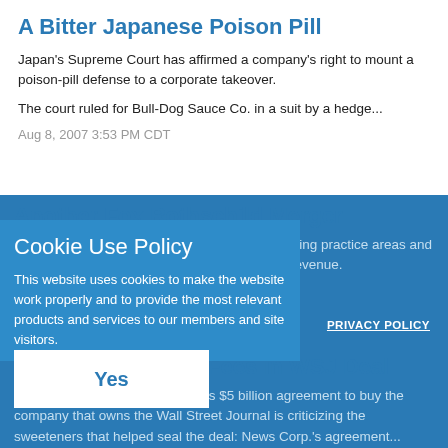A Bitter Japanese Poison Pill
Japan's Supreme Court has affirmed a company's right to mount a poison-pill defense to a corporate takeover.
The court ruled for Bull-Dog Sauce Co. in a suit by a hedge...
Aug 8, 2007 3:53 PM CDT
Another Fox Rothschild Merger
Fox Rothschild continues to buck the trend, adding practice areas and combining them in an effort to improve lawyer revenue.
As part of...
Cookie Use Policy
This website uses cookies to make the website work properly and to provide the most relevant products and services to our members and site visitors.
PRIVACY POLICY
Dissenter Hits Fat Fees in WSJ Deal
An opponent of Rupert Murdoch's $5 billion agreement to buy the company that owns the Wall Street Journal is criticizing the sweeteners that helped seal the deal: News Corp.'s agreement...
Yes